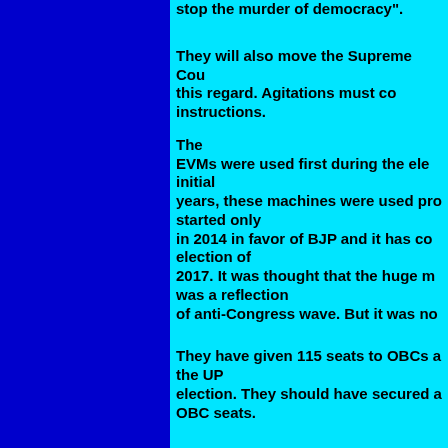stop the murder of democracy".
They will also move the Supreme Court in this regard. Agitations must continue as per instructions.
The EVMs were used first during the elections. In initial years, these machines were used properly. It started only in 2014 in favor of BJP and it has continued till election of 2017. It was thought that the huge majority was a reflection of anti-Congress wave. But it was not.
They have given 115 seats to OBCs and in the UP election. They should have secured at OBC seats.